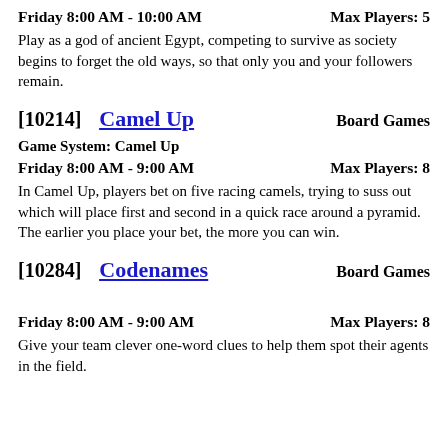Friday 8:00 AM - 10:00 AM    Max Players: 5
Play as a god of ancient Egypt, competing to survive as society begins to forget the old ways, so that only you and your followers remain.
[10214]   Camel Up   Board Games
Game System: Camel Up
Friday 8:00 AM - 9:00 AM    Max Players: 8
In Camel Up, players bet on five racing camels, trying to suss out which will place first and second in a quick race around a pyramid. The earlier you place your bet, the more you can win.
[10284]   Codenames   Board Games
Friday 8:00 AM - 9:00 AM    Max Players: 8
Give your team clever one-word clues to help them spot their agents in the field.